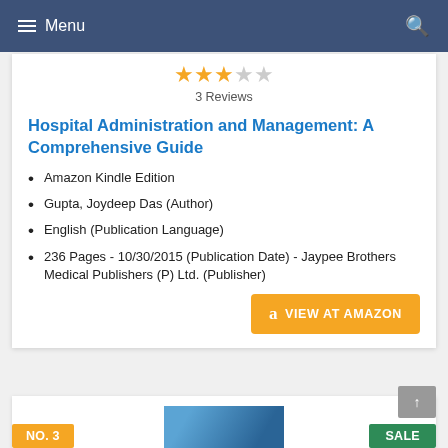Menu
[Figure (other): 3-star rating (3 out of 5 stars filled in gold), with text '3 Reviews']
Hospital Administration and Management: A Comprehensive Guide
Amazon Kindle Edition
Gupta, Joydeep Das (Author)
English (Publication Language)
236 Pages - 10/30/2015 (Publication Date) - Jaypee Brothers Medical Publishers (P) Ltd. (Publisher)
[Figure (other): Orange button with Amazon logo and text 'VIEW AT AMAZON']
NO. 3
SALE